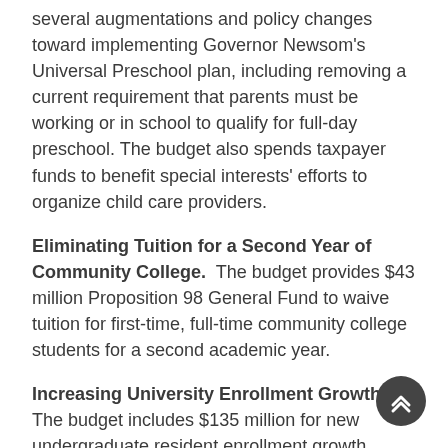several augmentations and policy changes toward implementing Governor Newsom's Universal Preschool plan, including removing a current requirement that parents must be working or in school to qualify for full-day preschool. The budget also spends taxpayer funds to benefit special interests' efforts to organize child care providers.
Eliminating Tuition for a Second Year of Community College. The budget provides $43 million Proposition 98 General Fund to waive tuition for first-time, full-time community college students for a second academic year.
Increasing University Enrollment Growth. The budget includes $135 million for new undergraduate resident enrollment growth across the University of California and California State University systems, including $49 million for another 4,860 students at the University of California and $85 million to increase enrollment at the California